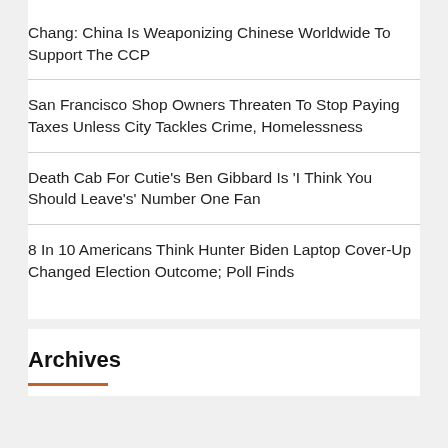Chang: China Is Weaponizing Chinese Worldwide To Support The CCP
San Francisco Shop Owners Threaten To Stop Paying Taxes Unless City Tackles Crime, Homelessness
Death Cab For Cutie's Ben Gibbard Is 'I Think You Should Leave's' Number One Fan
8 In 10 Americans Think Hunter Biden Laptop Cover-Up Changed Election Outcome; Poll Finds
Archives